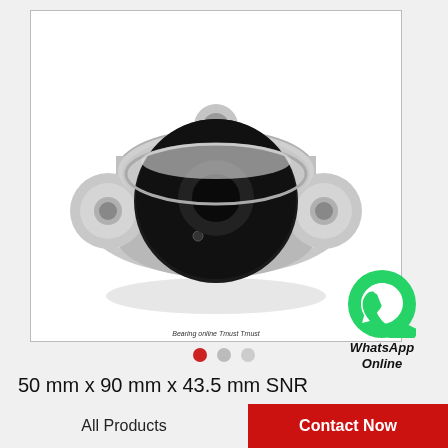[Figure (photo): A silver/metallic SNR US210G2T20 insert bearing unit with black rubber seal, showing a pillow block flange bearing with two mounting holes and a central black bearing insert.]
[Figure (logo): WhatsApp green circle icon with phone handset, labeled 'WhatsApp Online']
50 mm x 90 mm x 43.5 mm SNR US210G2T20 Bearing units,Insert bearings
All Products
Contact Now